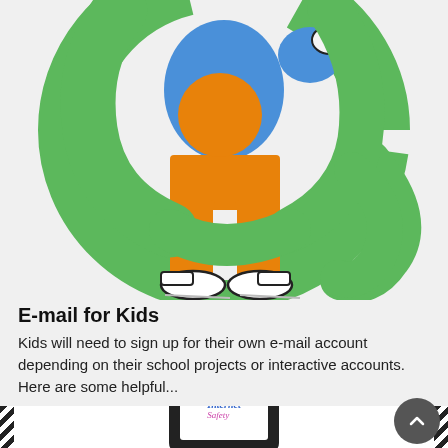[Figure (illustration): Colorful cartoon illustration showing the lower body of a character wearing orange pants, white sneakers, with a large green '@' symbol wrapped around the figure and a blue element at the top. Internet/email themed mascot character.]
E-mail for Kids
Kids will need to sign up for their own e-mail account depending on their school projects or interactive accounts. Here are some helpful...
[Figure (photo): Partial image of a smartphone displaying text 'Internet Safety' on its screen, shown inside a card with checkered black and white borders on left and right sides. A dark circular scroll-up button appears in the bottom right corner.]